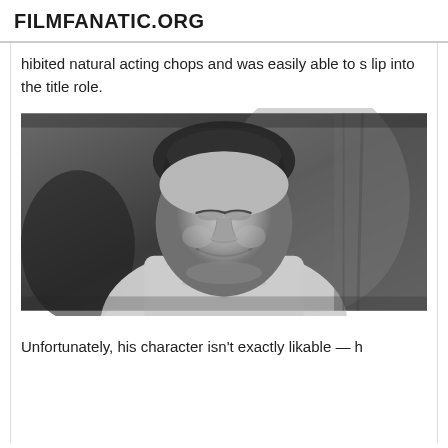FILMFANATIC.ORG
hibited natural acting chops and was easily able to slip into the title role.
[Figure (photo): Black and white still from a film showing a young man with curly hair, smiling slightly, wearing a light-colored collared shirt or robe. The image appears to be from a classic film.]
Unfortunately, his character isn't exactly likable — h